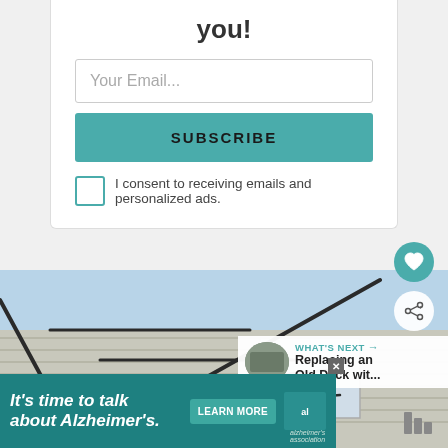you!
Your Email...
SUBSCRIBE
I consent to receiving emails and personalized ads.
[Figure (photo): Photo of a person installing or adjusting a TV antenna on the side of a house, with a light blue sky visible in the background. Social media overlay buttons (heart/save and share) visible on right side.]
WHAT'S NEXT →
Replacing an Old Deck wit...
It's time to talk about Alzheimer's.
LEARN MORE